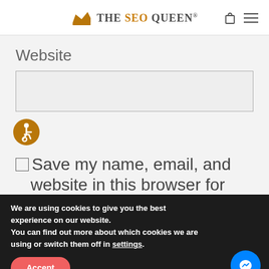The SEO Queen®
Website
[Figure (other): Accessibility icon - orange circle with wheelchair user symbol]
□Save my name, email, and
website in this browser for
We are using cookies to give you the best experience on our website.
You can find out more about which cookies we are using or switch them off in settings.
Accept